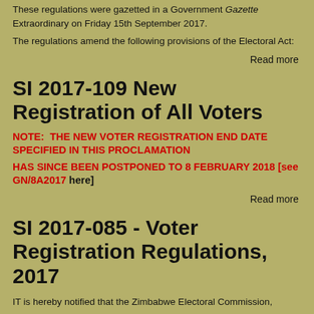These regulations were gazetted in a Government Gazette Extraordinary on Friday 15th September 2017.
The regulations amend the following provisions of the Electoral Act:
Read more
SI 2017-109 New Registration of All Voters
NOTE:  THE NEW VOTER REGISTRATION END DATE SPECIFIED IN THIS PROCLAMATION HAS SINCE BEEN POSTPONED TO 8 FEBRUARY 2018 [see GN/8A2017 here]
Read more
SI 2017-085 - Voter Registration Regulations, 2017
IT is hereby notified that the Zimbabwe Electoral Commission,